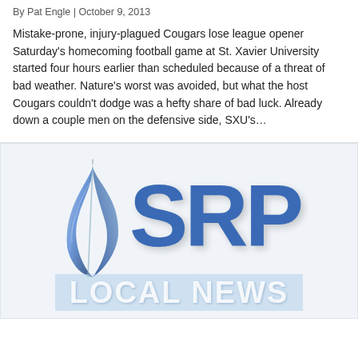By Pat Engle | October 9, 2013
Mistake-prone, injury-plagued Cougars lose league opener Saturday's homecoming football game at St. Xavier University started four hours earlier than scheduled because of a threat of bad weather. Nature's worst was avoided, but what the host Cougars couldn't dodge was a hefty share of bad luck. Already down a couple men on the defensive side, SXU's…
[Figure (logo): SRP Local News logo with a blue feather/quill icon to the left of large blue letters 'SRP' and 'LOCAL NEWS' text below on a light blue background.]